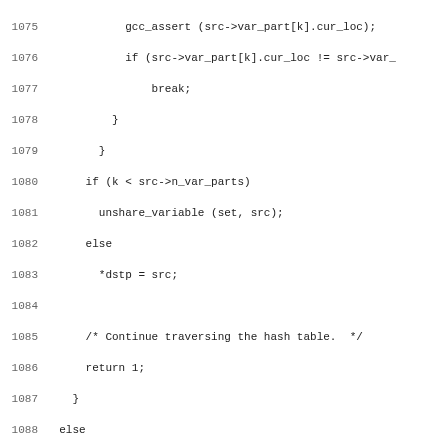Source code listing lines 1075-1106, C code for variable location merging logic